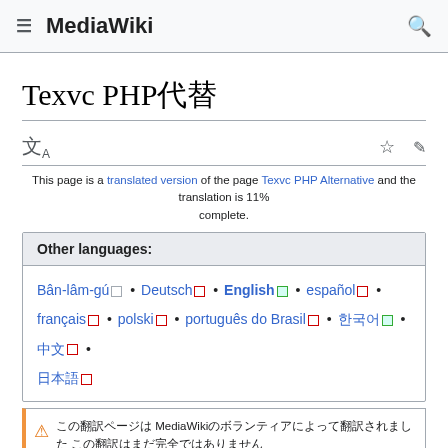MediaWiki
Texvc PHP代替
This page is a translated version of the page Texvc PHP Alternative and the translation is 11% complete.
| Other languages: |
| --- |
| Bân-lâm-gú • Deutsch • English • español • français • polski • português do Brasil • 한국어 • 中文 • 日本語 |
この翻訳ページはMediaWikiのボランティアによって翻訳されました この翻訳はまだ完全ではありません Learn more
目次